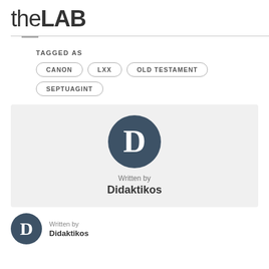theLAB
TAGGED AS
CANON
LXX
OLD TESTAMENT
SEPTUAGINT
[Figure (logo): Author card with large dark circle containing white letter D, labeled 'Written by Didaktikos']
[Figure (logo): Small dark circle containing white letter D, with text 'Written by Didaktikos' to the right]